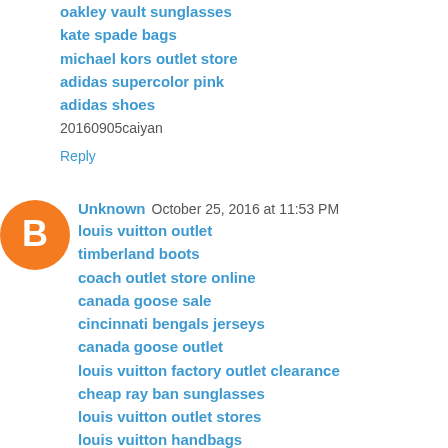kate spade bags
michael kors outlet store
adidas supercolor pink
adidas shoes
20160905caiyan
Reply
Unknown  October 25, 2016 at 11:53 PM
louis vuitton outlet
timberland boots
coach outlet store online
canada goose sale
cincinnati bengals jerseys
canada goose outlet
louis vuitton factory outlet clearance
cheap ray ban sunglasses
louis vuitton outlet stores
louis vuitton handbags
2016.10.26chenlixiang
Reply